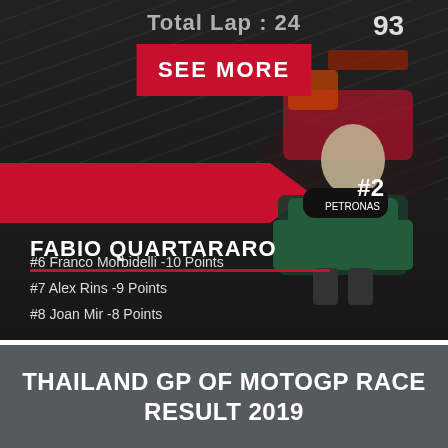Total Lap : 24
SEE MORE
[Figure (photo): MotoGP race background with riders on motorcycles, dark overlay. Fabio Quartararo rider photo with #2 badge on red banner.]
FABIO QUARTARARO
#6 Franco Morbidelli -10 Points
#7 Alex Rins -9 Points
#8 Joan Mir -8 Points
THAILAND GP OF MOTOGP RACE RESULT 2019